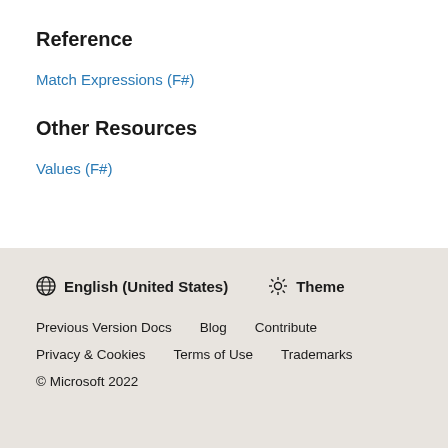Reference
Match Expressions (F#)
Other Resources
Values (F#)
🌐 English (United States)  ☀ Theme
Previous Version Docs  Blog  Contribute
Privacy & Cookies  Terms of Use  Trademarks
© Microsoft 2022